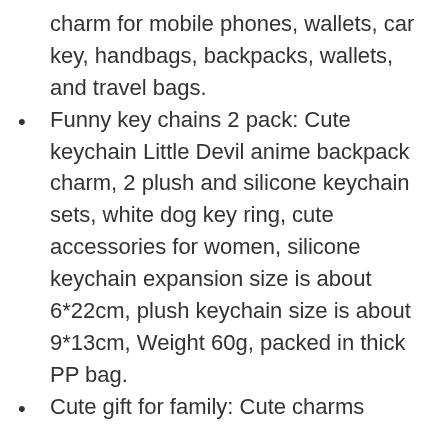charm for mobile phones, wallets, car key, handbags, backpacks, wallets, and travel bags.
Funny key chains 2 pack: Cute keychain Little Devil anime backpack charm, 2 plush and silicone keychain sets, white dog key ring, cute accessories for women, silicone keychain expansion size is about 6*22cm, plush keychain size is about 9*13cm, Weight 60g, packed in thick PP bag.
Cute gift for family: Cute charms